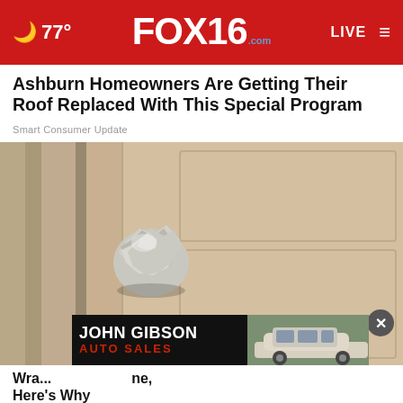FOX16.com — 77° — LIVE
Ashburn Homeowners Are Getting Their Roof Replaced With This Special Program
Smart Consumer Update
[Figure (photo): Close-up photo of a door knob wrapped in aluminum foil on a beige/tan residential front door]
[Figure (photo): John Gibson Auto Sales advertisement banner with car image]
Wrap... ...ne, Here's Why